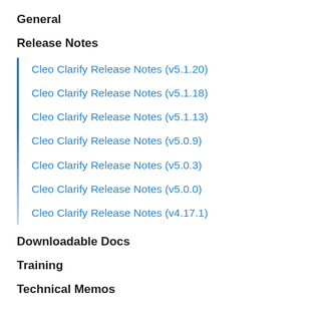General
Release Notes
Cleo Clarify Release Notes (v5.1.20)
Cleo Clarify Release Notes (v5.1.18)
Cleo Clarify Release Notes (v5.1.13)
Cleo Clarify Release Notes (v5.0.9)
Cleo Clarify Release Notes (v5.0.3)
Cleo Clarify Release Notes (v5.0.0)
Cleo Clarify Release Notes (v4.17.1)
Downloadable Docs
Training
Technical Memos